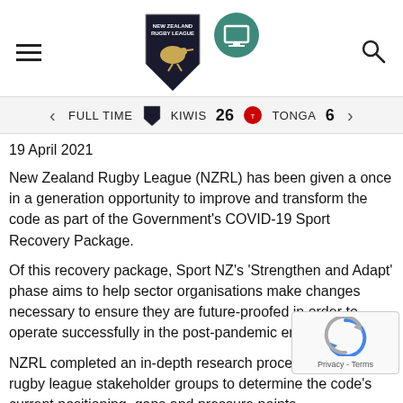New Zealand Rugby League website header with hamburger menu, NZRL logo, secondary icon, and search icon
FULL TIME   KIWIS 26   TONGA 6
19 April 2021
New Zealand Rugby League (NZRL) has been given a once in a generation opportunity to improve and transform the code as part of the Government's COVID-19 Sport Recovery Package.
Of this recovery package, Sport NZ's 'Strengthen and Adapt' phase aims to help sector organisations make changes necessary to ensure they are future-proofed in order to operate successfully in the post-pandemic environment.
NZRL completed an in-depth research process involving key rugby league stakeholder groups to determine the code's current positioning, gaps and pressure points.
Using the feedback and insights gained, NZRL created its 'Strengthen and Adapt' response plan, 'Ngā Ringa Āwhina' – an